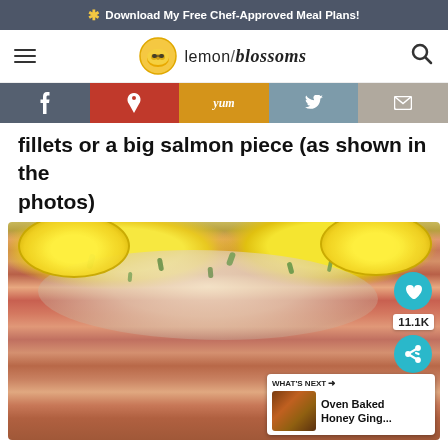* Download My Free Chef-Approved Meal Plans!
[Figure (logo): Lemon Blossoms website logo with lemon icon and text 'lemon / blossoms', hamburger menu icon on left, search icon on right]
[Figure (infographic): Social sharing bar with Facebook, Pinterest, Yummly, Twitter, and Email buttons]
fillets or a big salmon piece (as shown in the photos)
[Figure (photo): Close-up photo of baked salmon with cream sauce, dill, and lemon slices on top. Heart/save button and share button visible. 11.1K shares count shown.]
WHAT'S NEXT → Oven Baked Honey Ging...